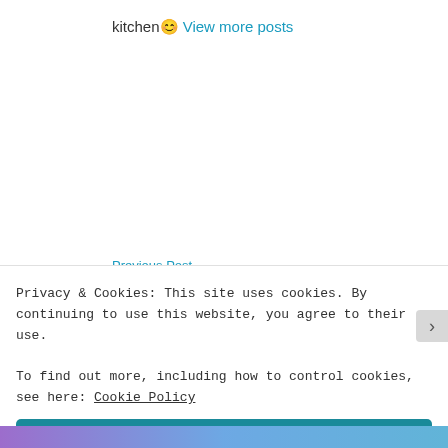kitchen😊 View more posts
Previous Post
Avocado smoothie🥑🥑🥑
Next Post
Drumstick grav🍴
Privacy & Cookies: This site uses cookies. By continuing to use this website, you agree to their use.
To find out more, including how to control cookies, see here: Cookie Policy
Close and accept